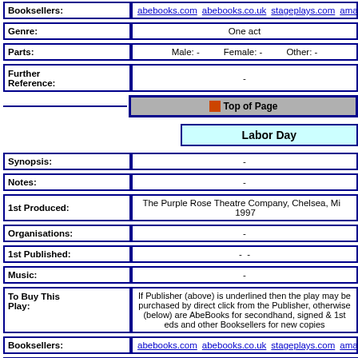| Field | Value |
| --- | --- |
| Booksellers: | abebooks.com  abebooks.co.uk  stageplays.com  amazon.com  amazon.co.uk  am... |
| Genre: | One act |
| Parts: | Male: -   Female: -   Other: - |
| Further Reference: | - |
| Top of Page |  |
| Labor Day |  |
| Synopsis: | - |
| Notes: | - |
| 1st Produced: | The Purple Rose Theatre Company, Chelsea, Mi   1997 |
| Organisations: | - |
| 1st Published: | - - |
| Music: | - |
| To Buy This Play: | If Publisher (above) is underlined then the play may be purchased by direct click from the Publisher, otherwise (below) are AbeBooks for secondhand, signed & 1st eds and other Booksellers for new copies |
| Booksellers: | abebooks.com  abebooks.co.uk  stageplays.com  amazon.com  amazon.co.uk  am... |
| Genre: | - |
| Parts: | Male: -   Female: -   Other: - |
| Further | - |